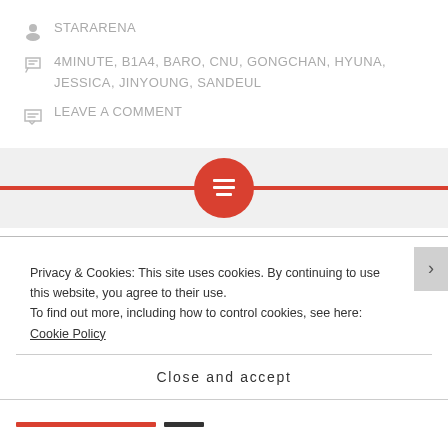STARARENA
4MINUTE, B1A4, BARO, CNU, GONGCHAN, HYUNA, JESSICA, JINYOUNG, SANDEUL
LEAVE A COMMENT
[Figure (illustration): Red horizontal divider line with a red circle icon containing a text/lines symbol in the center]
B1A4’s new song “Sweet Girl” well-liked by Artistes such as
Privacy & Cookies: This site uses cookies. By continuing to use this website, you agree to their use. To find out more, including how to control cookies, see here: Cookie Policy
Close and accept